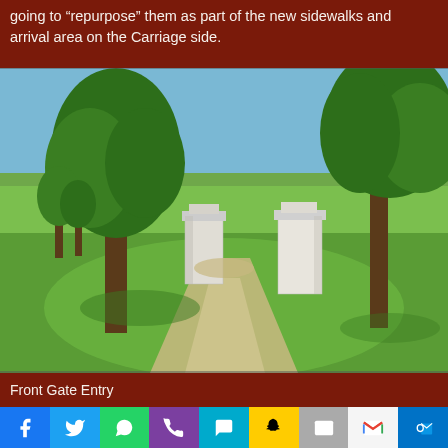going to “repurpose” them as part of the new sidewalks and arrival area on the Carriage side.
[Figure (photo): Outdoor photo showing two white stone gate pillars flanking a dirt/gravel path entry, surrounded by green lawn, large trees, and a field in the background under a blue sky. This is the Front Gate Entry.]
Front Gate Entry
Social share bar: Facebook, Twitter, WhatsApp, Phone, SMS, Snapchat, Email, Gmail, Outlook